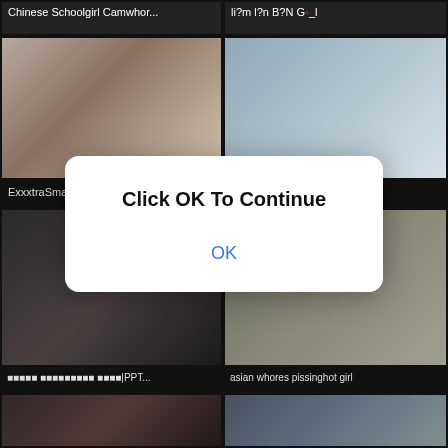Chinese Schoolgirl Camwhor...
li?m l?n B?N G?_l
[Figure (photo): Video thumbnail showing two people]
[Figure (photo): Video thumbnail showing a young woman]
ExxxtraSmac - Pelle Ebony B...
Depraved student sucked a fr...
[Figure (photo): Video thumbnail]
[Figure (photo): Video thumbnail]
asian whores pissinghot girl
[Figure (photo): Video thumbnail]
[Figure (photo): Video thumbnail]
[Figure (screenshot): Modal dialog overlaying the page with text Click OK To Continue and OK button]